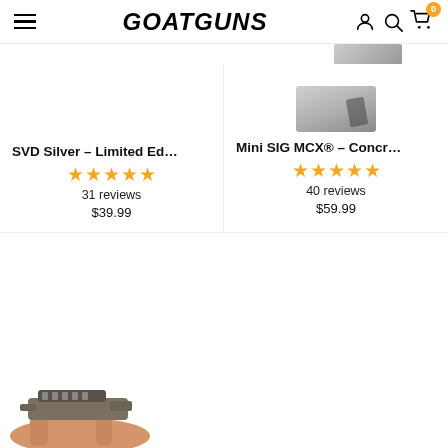GOATGUNS — navigation header with hamburger menu, logo, account, search, and cart icons
[Figure (screenshot): Product listing for SVD Silver - Limited Ed... showing 5 gold stars, 31 reviews, $39.99]
[Figure (screenshot): Product listing for Mini SIG MCX® - Concr... showing a partial product image at top, 5 gold stars, 40 reviews, $59.99]
[Figure (photo): Hand holding a small model gun product at the bottom of the page, partially cropped]